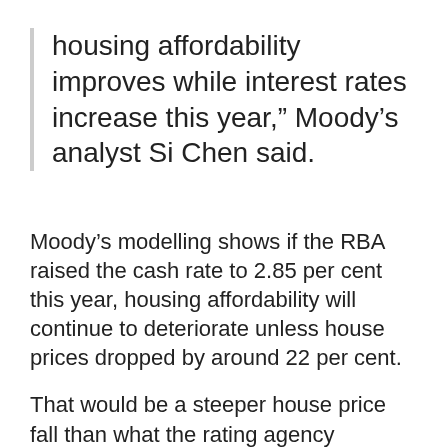housing affordability improves while interest rates increase this year,” Moody’s analyst Si Chen said.
Moody’s modelling shows if the RBA raised the cash rate to 2.85 per cent this year, housing affordability will continue to deteriorate unless house prices dropped by around 22 per cent.
That would be a steeper house price fall than what the rating agency currently expects to occur by the end of this year.
The cash rate currently sits at 0.85 per cent after 75 basis points worth of increases at the May and June RBA board meetings.
Moody’s says in May, Australian households needed 26.8 per cent of monthly income to meet monthly repayments on new mortgages, up from